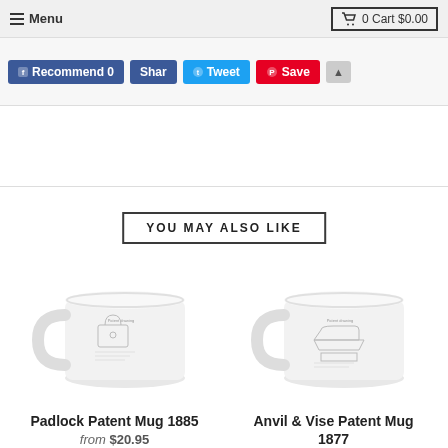Menu | 0 Cart $0.00
[Figure (screenshot): Social sharing buttons: Recommend 0 (Facebook), Share (Facebook), Tweet (Twitter), Save (Pinterest), and an expand arrow]
YOU MAY ALSO LIKE
[Figure (photo): White ceramic mug with Padlock patent drawing printed on it]
Padlock Patent Mug 1885
from $20.95
[Figure (photo): White ceramic mug with Anvil & Vise patent drawing printed on it]
Anvil & Vise Patent Mug 1877